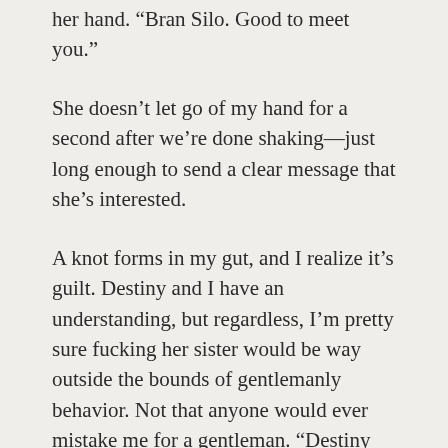her hand. “Bran Silo. Good to meet you.”
She doesn’t let go of my hand for a second after we’re done shaking—just long enough to send a clear message that she’s interested.
A knot forms in my gut, and I realize it’s guilt. Destiny and I have an understanding, but regardless, I’m pretty sure fucking her sister would be way outside the bounds of gentlemanly behavior. Not that anyone would ever mistake me for a gentleman. “Destiny never mentioned she had a sister.”
“Doesn’t surprise me.” She takes another drink, nearly polishing it off in a few big gulps.